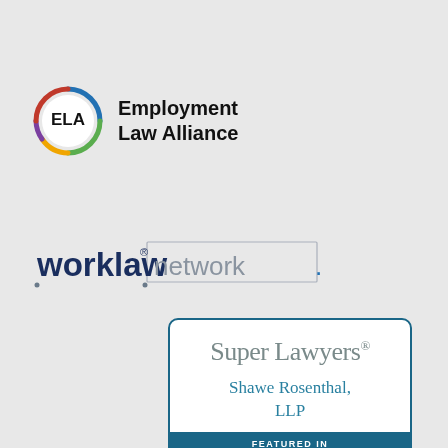[Figure (logo): Employment Law Alliance (ELA) logo — circular multi-colored ring with 'ELA' text inside, next to bold text 'Employment Law Alliance']
[Figure (logo): Worklaw Network logo — 'worklaw' in bold navy blue with a registered trademark symbol, followed by 'network.' in lighter gray text, with small dot decorations]
[Figure (logo): Super Lawyers badge — white rounded rectangle with teal border. Top section shows 'Super Lawyers' in serif gray, below 'Shawe Rosenthal, LLP' in teal. Bottom dark teal bar reads 'FEATURED IN Super Lawyers ... Edition']